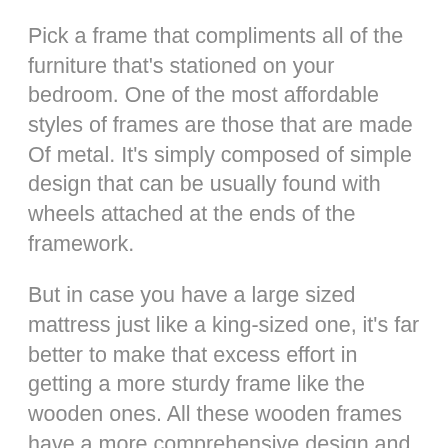Pick a frame that compliments all of the furniture that's stationed on your bedroom. One of the most affordable styles of frames are those that are made Of metal. It's simply composed of simple design that can be usually found with wheels attached at the ends of the framework.
But in case you have a large sized mattress just like a king-sized one, it's far better to make that excess effort in getting a more sturdy frame like the wooden ones. All these wooden frames have a more comprehensive design and will go with any space that affirms a frequent theme. If you have one of these water beds, then a stage framework Should be your main choice since it's made to deliver an complete support for water beds.
A number of these sorts of mattress frames even have a storage capability wherein a drawer or 2 are hidden on the faces of the framework. The price of each frame depends on its size, the design, and